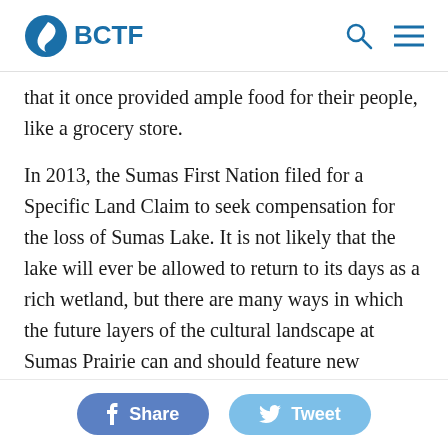BCTF
that it once provided ample food for their people, like a grocery store.
In 2013, the Sumas First Nation filed for a Specific Land Claim to seek compensation for the loss of Sumas Lake. It is not likely that the lake will ever be allowed to return to its days as a rich wetland, but there are many ways in which the future layers of the cultural landscape at Sumas Prairie can and should feature new contributions and equities for the Semá:th people. The atmospheric rivers, the impact of flood events, the layers of the cultural landscape, the cultural perpetuity of Indigenous Peoples, and the need for reconciliation
Share   Tweet